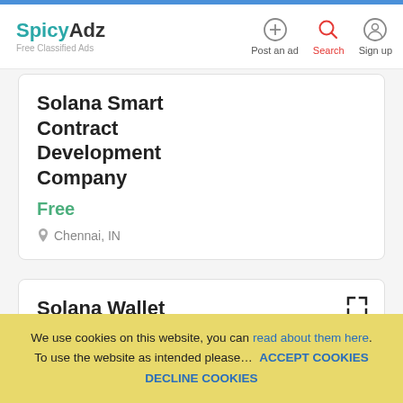SpicyAdz Free Classified Ads — Post an ad | Search | Sign up
Solana Smart Contract Development Company
Free
Chennai, IN
Solana Wallet Development Company
Free
Chennai, IN
We use cookies on this website, you can read about them here. To use the website as intended please… ACCEPT COOKIES DECLINE COOKIES